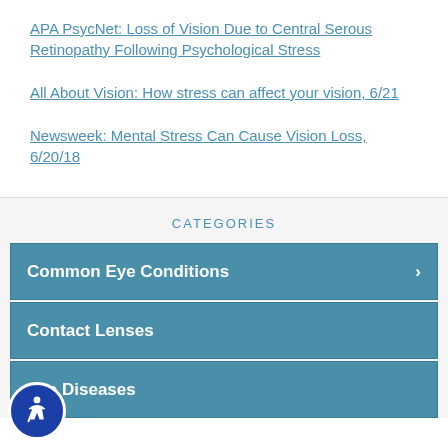APA PsycNet: Loss of Vision Due to Central Serous Retinopathy Following Psychological Stress
All About Vision: How stress can affect your vision, 6/21
Newsweek: Mental Stress Can Cause Vision Loss, 6/20/18
CATEGORIES
Common Eye Conditions
Contact Lenses
Eye Diseases